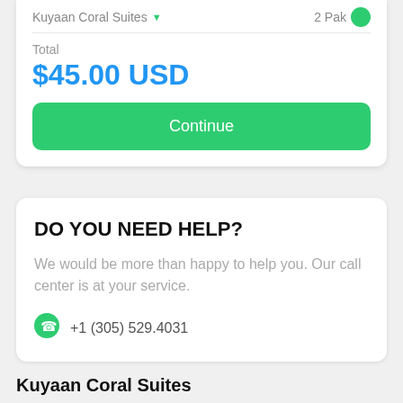Kuyaan Coral Suites
2 Pak
Total
$45.00 USD
Continue
DO YOU NEED HELP?
We would be more than happy to help you. Our call center is at your service.
+1 (305) 529.4031
Kuyaan Coral Suites